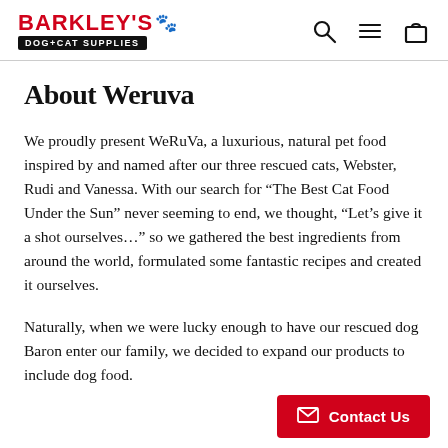BARKLEY'S DOG+CAT SUPPLIES
About Weruva
We proudly present WeRuVa, a luxurious, natural pet food inspired by and named after our three rescued cats, Webster, Rudi and Vanessa. With our search for “The Best Cat Food Under the Sun” never seeming to end, we thought, “Let’s give it a shot ourselves…” so we gathered the best ingredients from around the world, formulated some fantastic recipes and created it ourselves.
Naturally, when we were lucky enough to have our rescued dog Baron enter our family, we decided to expand our products to include dog food.